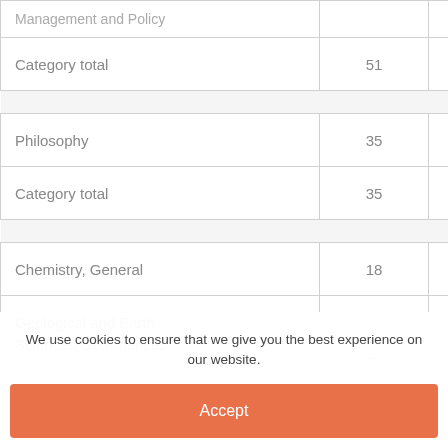|  |  |  |
| --- | --- | --- |
| Management and Policy |  |  |
| Category total | 51 | 11 |
|  |  |  |
| Philosophy | 35 | – |
| Category total | 35 | – |
|  |  |  |
| Chemistry, General | 18 | 3 |
| Geological and Earth Sciences/Geosciences. | – | 1 |
We use cookies to ensure that we give you the best experience on our website.